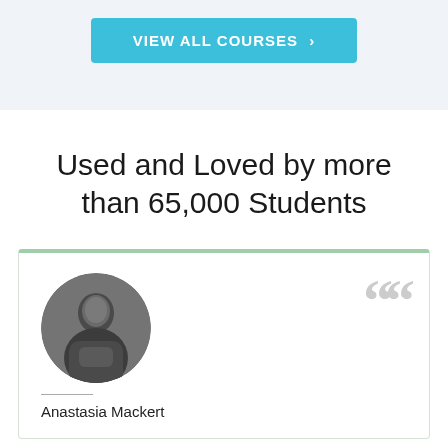VIEW ALL COURSES >
Used and Loved by more than 65,000 Students
[Figure (photo): Circular grayscale portrait photo of Anastasia Mackert]
Anastasia Mackert